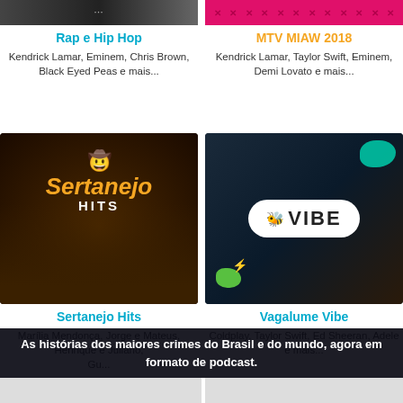[Figure (photo): Partial top image of Rap e Hip Hop playlist cover - dark tones]
[Figure (photo): Partial top image of MTV MIAW 2018 playlist cover - pink/red with X pattern]
Rap e Hip Hop
Kendrick Lamar, Eminem, Chris Brown, Black Eyed Peas e mais...
MTV MIAW 2018
Kendrick Lamar, Taylor Swift, Eminem, Demi Lovato e mais...
[Figure (photo): Sertanejo Hits playlist cover - two men with microphone, orange cowboy hat logo, dark background]
[Figure (photo): Vagalume Vibe playlist cover - woman in car with teal and green blob shapes, white Vibe logo]
Sertanejo Hits
Marília Mendonça, Jorge e Mateus, Henrique e Juliano, Gu...
Vagalume Vibe
Coldplay, Taylor Swift, Ed Sheeran, Adele e mais...
As histórias dos maiores crimes do Brasil e do mundo, agora em formato de podcast.